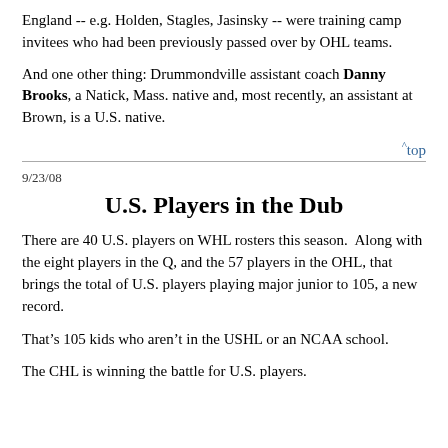England -- e.g. Holden, Stagles, Jasinsky -- were training camp invitees who had been previously passed over by OHL teams.
And one other thing: Drummondville assistant coach Danny Brooks, a Natick, Mass. native and, most recently, an assistant at Brown, is a U.S. native.
^top
9/23/08
U.S. Players in the Dub
There are 40 U.S. players on WHL rosters this season.  Along with the eight players in the Q, and the 57 players in the OHL, that brings the total of U.S. players playing major junior to 105, a new record.
That’s 105 kids who aren’t in the USHL or an NCAA school.
The CHL is winning the battle for U.S. players.